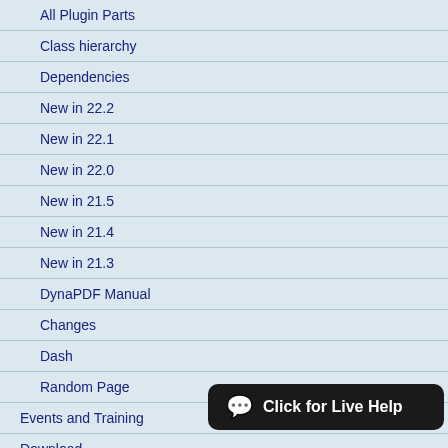All Plugin Parts
Class hierarchy
Dependencies
New in 22.2
New in 22.1
New in 22.0
New in 21.5
New in 21.4
New in 21.3
DynaPDF Manual
Changes
Dash
Random Page
Events and Training
Download
[Figure (other): Buy Now button with PayPal-style golden gradient and payment icons: Mastercard, VISA, giropay, JCB]
Pricing